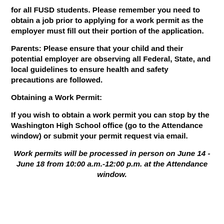for all FUSD students. Please remember you need to obtain a job prior to applying for a work permit as the employer must fill out their portion of the application.
Parents: Please ensure that your child and their potential employer are observing all Federal, State, and local guidelines to ensure health and safety precautions are followed.
Obtaining a Work Permit:
If you wish to obtain a work permit you can stop by the Washington High School office (go to the Attendance window) or submit your permit request via email.
Work permits will be processed in person on June 14 - June 18 from 10:00 a.m.-12:00 p.m. at the Attendance window.